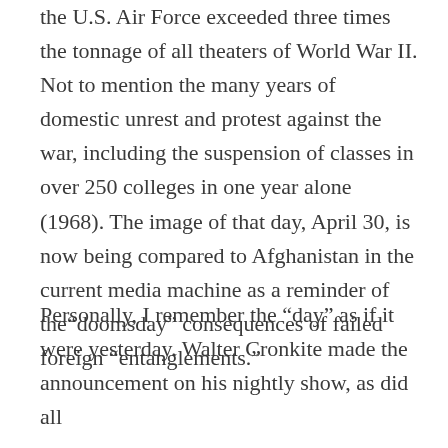the U.S. Air Force exceeded three times the tonnage of all theaters of World War II. Not to mention the many years of domestic unrest and protest against the war, including the suspension of classes in over 250 colleges in one year alone (1968). The image of that day, April 30, is now being compared to Afghanistan in the current media machine as a reminder of the“doomsday” consequences of failed foreign “entanglements.”
Personally, I remember the “day” as if it were yesterday. Walter Cronkite made the announcement on his nightly show, as did all